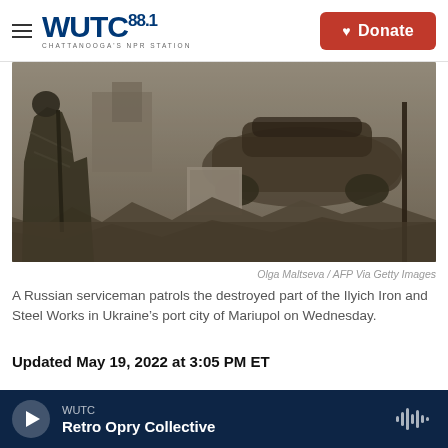WUTC 88.1 CHATTANOOGA'S NPR STATION — Donate
[Figure (photo): A Russian serviceman walks through the destroyed Ilyich Iron and Steel Works in Mariupol, Ukraine. Burned-out vehicle and rubble visible in background.]
Olga Maltseva / AFP Via Getty Images
A Russian serviceman patrols the destroyed part of the Ilyich Iron and Steel Works in Ukraine's port city of Mariupol on Wednesday.
Updated May 19, 2022 at 3:05 PM ET
The Ukrainian city of Mariupol is now in Russian hands, after more than two months of bitter
WUTC — Retro Opry Collective